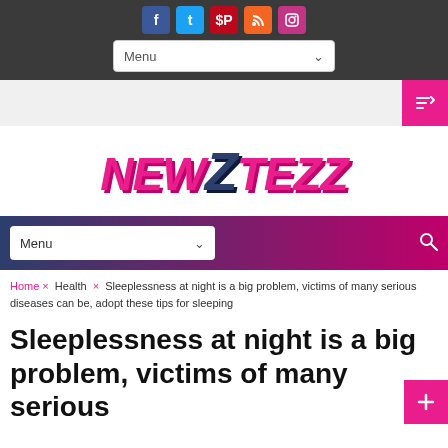Social icons: Facebook, Twitter, Pinterest, RSS, Instagram; Menu dropdown
[Figure (screenshot): NewZTezz website logo with pink and dark blue styling]
Menu navigation bar with search icon
Home × Health × Sleeplessness at night is a big problem, victims of many serious diseases can be, adopt these tips for sleeping
Sleeplessness at night is a big problem, victims of many serious